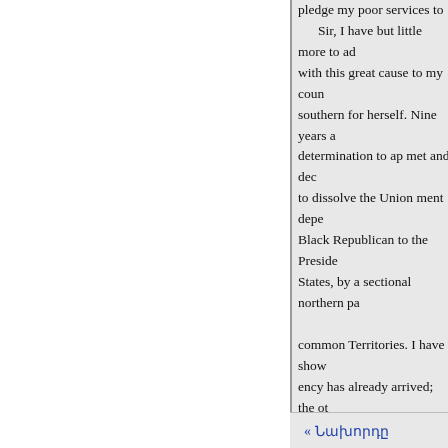pledge my poor services to

Sir, I have but little more to ad with this great cause to my coun southern for herself. Nine years a determination to ap met and dec to dissolve the Union ment depe Black Republican to the Preside States, by a sectional northern pa common Territories. I have show ency has already arrived; the ot cess of the Republican party in t election. I was a member of that stood then and now pledged to it fully labored to avert these calan until this last contingency happe the and to the best of my poor ab comes, freemen of Georgia rede powerfully ready to redeem min want these faith is plighted. I kn spread your peace, your social sy
« Նախորդը